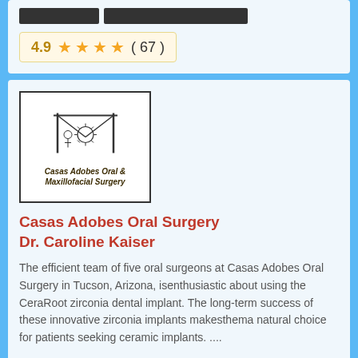[Figure (other): Two dark placeholder image bars]
4.9 ★★★★ ( 67 )
[Figure (logo): Casas Adobes Oral & Maxillofacial Surgery logo with sketch-style sun/dental imagery]
Casas Adobes Oral Surgery Dr. Caroline Kaiser
The efficient team of five oral surgeons at Casas Adobes Oral Surgery in Tucson, Arizona, isenthusiastic about using the CeraRoot zirconia dental implant. The long-term success of these innovative zirconia implants makesthema natural choice for patients seeking ceramic implants. ....
(520) 742-6136
6471 N La Cholla Blvd